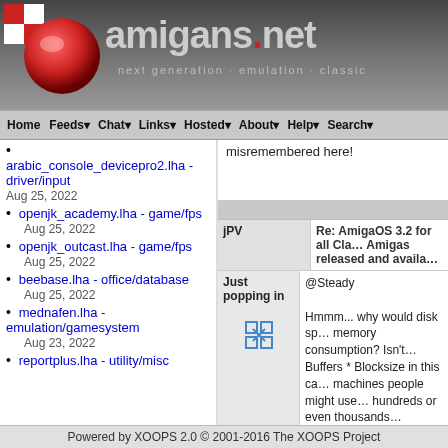[Figure (logo): amigans.net website header with logo, red checkered ball, and tagline 'next generation · emulation · classic']
Home  Feeds  Chat  Links  Hosted  About  Help  Search
arabic_console_devicepro2.lha - driver/input
Aug 25, 2022
openjk_academy.lha - game/fps
Aug 25, 2022
openjk_outcast.lha - game/fps
Aug 25, 2022
beebase.lha - office/database
Aug 25, 2022
mednafen.lha - emulation/gamesystem
Aug 23, 2022
reportplus.lha - utility/misc
misremembered here!
jPV
Re: AmigaOS 3.2 for all Cla… Amigas released and availa…
Just popping in
@Steady

Hmmm... why would disk sp… memory consumption? Isn't… Buffers * Blocksize in this ca… machines people might use… hundreds or even thousands… memory isn't an issue there,… classics I'd stay somewhere… And keep blocksize as 512 i… good reason and memory to…
Powered by XOOPS 2.0 © 2001-2016 The XOOPS Project